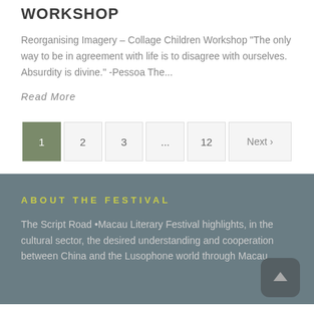WORKSHOP
Reorganising Imagery – Collage Children Workshop "The only way to be in agreement with life is to disagree with ourselves. Absurdity is divine." -Pessoa The...
Read More
1  2  3  ...  12  Next ›
ABOUT THE FESTIVAL
The Script Road •Macau Literary Festival highlights, in the cultural sector, the desired understanding and cooperation between China and the Lusophone world through Macau...